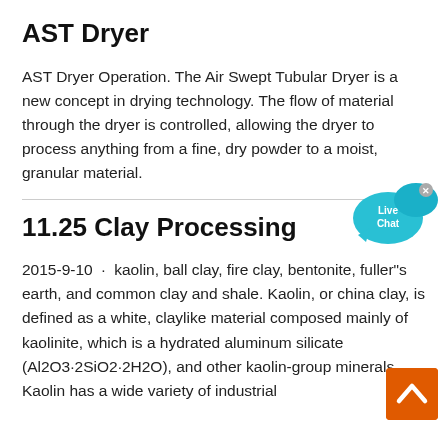AST Dryer
AST Dryer Operation. The Air Swept Tubular Dryer is a new concept in drying technology. The flow of material through the dryer is controlled, allowing the dryer to process anything from a fine, dry powder to a moist, granular material.
[Figure (other): Live Chat button — a cyan speech bubble graphic with 'Live Chat' text and a close (x) icon]
11.25 Clay Processing
2015-9-10 · kaolin, ball clay, fire clay, bentonite, fuller"s earth, and common clay and shale. Kaolin, or china clay, is defined as a white, claylike material composed mainly of kaolinite, which is a hydrated aluminum silicate (Al2O3·2SiO2·2H2O), and other kaolin-group minerals. Kaolin has a wide variety of industrial
[Figure (other): Orange back-to-top button with white upward chevron arrow]